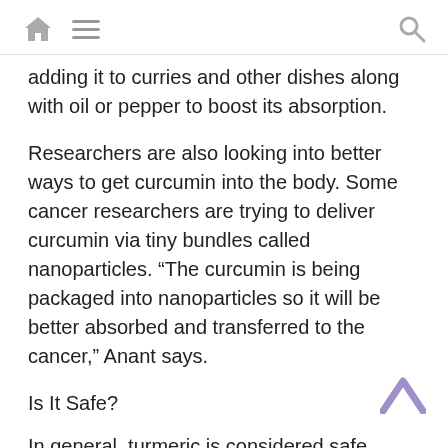home menu search
adding it to curries and other dishes along with oil or pepper to boost its absorption.
Researchers are also looking into better ways to get curcumin into the body. Some cancer researchers are trying to deliver curcumin via tiny bundles called nanoparticles. “The curcumin is being packaged into nanoparticles so it will be better absorbed and transferred to the cancer,” Anant says.
Is It Safe?
In general, turmeric is considered safe,